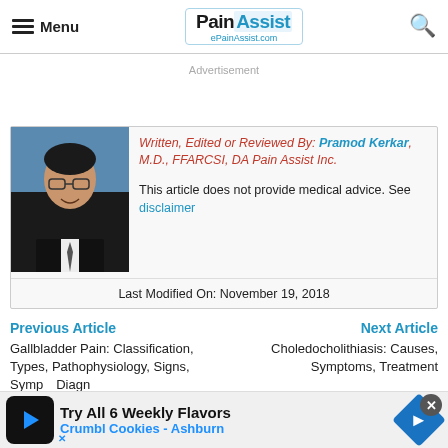Menu | PainAssist ePainAssist.com
Advertisement
Written, Edited or Reviewed By: Pramod Kerkar, M.D., FFARCSI, DA Pain Assist Inc.
This article does not provide medical advice. See disclaimer
Last Modified On: November 19, 2018
Previous Article
Next Article
Gallbladder Pain: Classification, Types, Pathophysiology, Signs, Symptoms, Diagnosis
Choledocholithiasis: Causes, Symptoms, Treatment